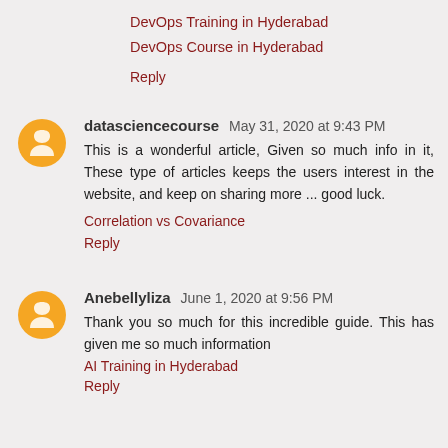DevOps Training in Hyderabad
DevOps Course in Hyderabad
Reply
datasciencecourse  May 31, 2020 at 9:43 PM
This is a wonderful article, Given so much info in it, These type of articles keeps the users interest in the website, and keep on sharing more ... good luck.
Correlation vs Covariance
Reply
Anebellyliza  June 1, 2020 at 9:56 PM
Thank you so much for this incredible guide. This has given me so much information
AI Training in Hyderabad
Reply